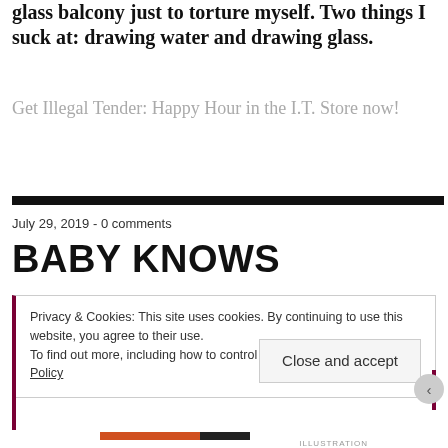glass balcony just to torture myself. Two things I suck at: drawing water and drawing glass.
Get Illegal Tender: Happy Hour in the I.T. Store now!
July 29, 2019 - 0 comments
BABY KNOWS
Privacy & Cookies: This site uses cookies. By continuing to use this website, you agree to their use.
To find out more, including how to control cookies, see here: Cookie Policy
Close and accept